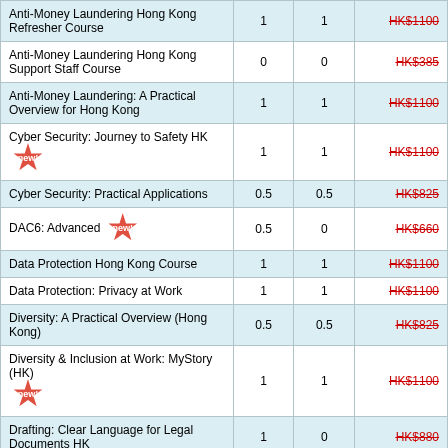| Course Name | CPD Hours | CPD Points | Price |
| --- | --- | --- | --- |
| Anti-Money Laundering Hong Kong Refresher Course | 1 | 1 | HK$1100 |
| Anti-Money Laundering Hong Kong Support Staff Course | 0 | 0 | HK$385 |
| Anti-Money Laundering: A Practical Overview for Hong Kong | 1 | 1 | HK$1100 |
| Cyber Security: Journey to Safety HK [new!] | 1 | 1 | HK$1100 |
| Cyber Security: Practical Applications | 0.5 | 0.5 | HK$825 |
| DAC6: Advanced [new!] | 0.5 | 0 | HK$660 |
| Data Protection Hong Kong Course | 1 | 1 | HK$1100 |
| Data Protection: Privacy at Work | 1 | 1 | HK$1100 |
| Diversity: A Practical Overview (Hong Kong) | 0.5 | 0.5 | HK$825 |
| Diversity & Inclusion at Work: MyStory (HK) [new!] | 1 | 1 | HK$1100 |
| Drafting: Clear Language for Legal Documents HK | 1 | 0 | HK$880 |
| Drafting: Structure of Legal Documents HK | 1 | 0 | HK$880 |
| Equality and Diversity Hong Kong | 0.5 | 0.5 | HK$825 |
| Financial Statements: Basics HK | 1.5 | 0 | HK$990 |